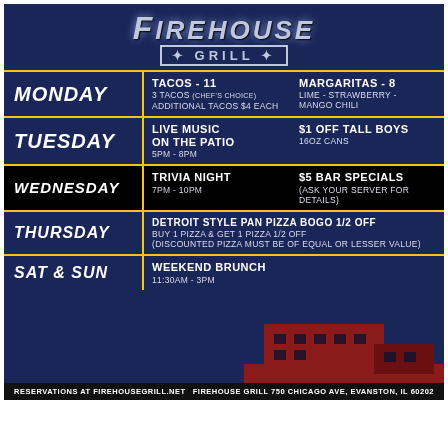[Figure (infographic): Firehouse Grill weekly specials promotional flyer with dark blue background, logo at top, daily specials listed in rows separated by yellow lines, building silhouette at bottom right]
Firehouse Grill
MONDAY — TACOS - 11 | 3 TACOS (CHEF'S CHOICE) ADDITIONAL TACOS $4 EACH | MARGARITAS - 8 LIME - STRAWBERRY - MANGO CHILI
TUESDAY — LIVE MUSIC ON THE PATIO 5pm - 8pm | $1 OFF TALL BOYS 16oz CANS
WEDNESDAY — TRIVIA NIGHT 7pm - 10pm | $5 BAR SPECIALS (ASK YOUR SERVER FOR DETAILS)
THURSDAY — DETROIT STYLE PAN PIZZA BOGO 1/2 OFF BUY 1 PIZZA & GET 1 PIZZA 1/2 OFF (DISCOUNTED PIZZA MUST BE OF EQUAL OR LESSER VALUE)
SAT & SUN — WEEKEND BRUNCH 11:30am - 3pm
RESERVATIONS AT FIREHOUSEGRILL.NET     FIREHOUSE GRILL 750 CHICAGO AVE, EVANSTON, IL 60202